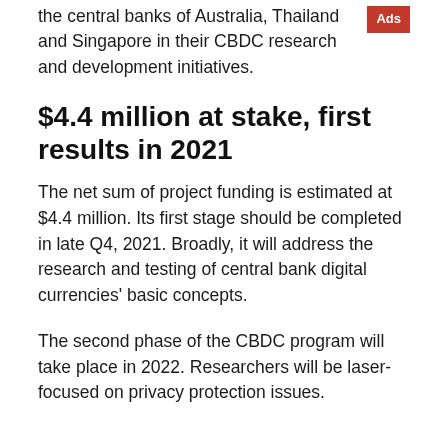the central banks of Australia, Thailand and Singapore in their CBDC research and development initiatives.
$4.4 million at stake, first results in 2021
The net sum of project funding is estimated at $4.4 million. Its first stage should be completed in late Q4, 2021. Broadly, it will address the research and testing of central bank digital currencies' basic concepts.
The second phase of the CBDC program will take place in 2022. Researchers will be laser-focused on privacy protection issues.